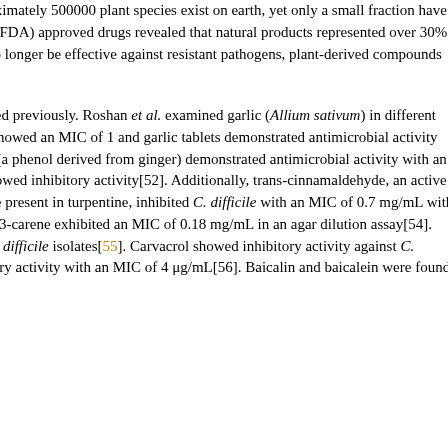Humans have been using natural products for medicinal purposes for millennia. It is estimated that approximately 500000 plant species exist on earth, yet only a small fraction have been tested for biologically active compounds[50]. A detailed analysis of Food and Drug Administration (FDA) approved drugs revealed that natural products represented over 30% of new drugs approved between 1981 and 2010[51]. Given that many of the prescribed antibiotics may no longer be effective against resistant pathogens, plant-derived compounds represent a tremendous opportunity to discover novel antimicrobial compounds.
Several plant extracts and plant-derived compounds with activity against C. difficile have been investigated previously. Roshan et al. examined garlic (Allium sativum) in different formulations, such as both processed and unprocessed (fresh) garlic. Both fresh garlic and garlic extract showed an MIC of 1 and garlic tablets demonstrated antimicrobial activity against C. difficile with an MIC of 37.5–75 mg/mL, respectively[52]. Phytochemicals such as 6-gingerol (a phenol derived from ginger) demonstrated antimicrobial activity with an MIC of 0.5 mg/mL[53]. Zingerone (derived from ginger) and menthol (derived from peppermint) also showed inhibitory activity[52]. Additionally, trans-cinnamaldehyde, an active component of cinnamon, inhibited C. difficile with an MIC of 0.2 mg/mL[52]. δ-3-Carene, a monoterpene present in turpentine, inhibited C. difficile with an MIC of 0.7 mg/mL with a less potent analogue, carene, showing an MIC of 1.3 mg/mL[54]. Dill seed oil that contains 16.5% of δ-3-carene exhibited an MIC of 0.18 mg/mL in an agar dilution assay[54]. Xanthohumol, derived from Humulus lupulus (hops), had antimicrobial activity against seven different C. difficile isolates[55]. Carvacrol showed inhibitory activity against C. difficile with an MIC of 2 μg/mL. The identification of thymol also revealed it to have C. difficile inhibitory activity with an MIC of 4 μg/mL[56]. Baicalin and baicalein were found to be active against 27 C. difficile strains